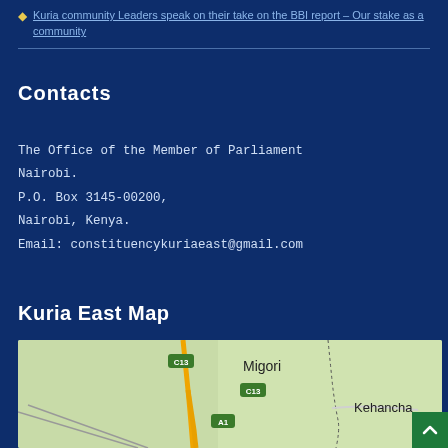Kuria community Leaders speak on their take on the BBI report – Our stake as a community
Contacts
The Office of the Member of Parliament
Nairobi.
P.O. Box 3145-00200,
Nairobi, Kenya.
Email: constituencykuriaeast@gmail.com
Kuria East Map
[Figure (map): Map showing Kuria East area with road C13 near Migori, road A1, and Kehancha location visible. Roads shown in yellow/orange on light green terrain background.]